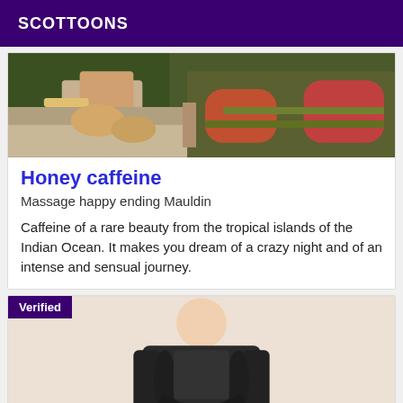SCOTTOONS
[Figure (photo): Photo showing legs and colorful bedding/tropical setting]
Honey caffeine
Massage happy ending Mauldin
Caffeine of a rare beauty from the tropical islands of the Indian Ocean. It makes you dream of a crazy night and of an intense and sensual journey.
[Figure (photo): Photo of a person in a dark robe/kimono, with a Verified badge overlay in the top left corner]